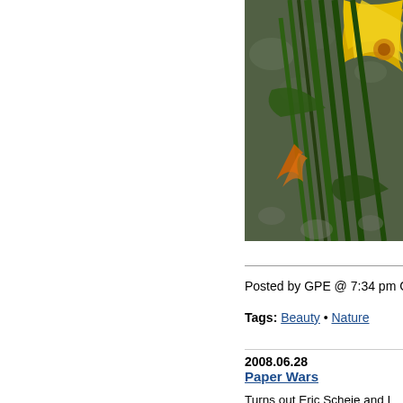[Figure (photo): Close-up photograph of yellow day lily flowers with dark green stems and leaves, with gravel/stone visible in background]
Posted by GPE @ 7:34 pm Comments
Tags: Beauty • Nature
2008.06.28
Paper Wars
Turns out Eric Scheie and I are fighting than Eric's, involving one puny shred I HAVE to keep, mostly related to Jane years yet due to some rather vague le